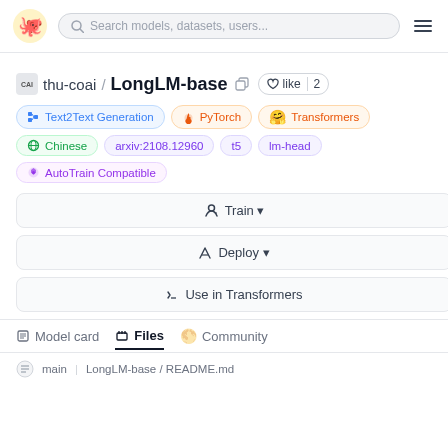Search models, datasets, users...
thu-coai / LongLM-base
like 2
Text2Text Generation
PyTorch
Transformers
Chinese
arxiv:2108.12960
t5
lm-head
AutoTrain Compatible
Train
Deploy
Use in Transformers
Model card  Files  Community